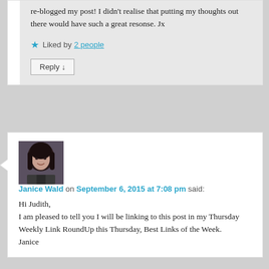re-blogged my post! I didn't realise that putting my thoughts out there would have such a great resonse. Jx
★ Liked by 2 people
Reply ↓
[Figure (photo): Profile photo of Janice Wald, a woman with dark hair]
Janice Wald on September 6, 2015 at 7:08 pm said:
Hi Judith,
I am pleased to tell you I will be linking to this post in my Thursday Weekly Link RoundUp this Thursday, Best Links of the Week.
Janice